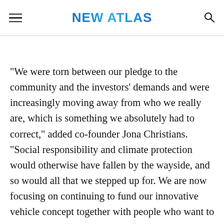NEW ATLAS
"We were torn between our pledge to the community and the investors’ demands and were increasingly moving away from who we really are, which is something we absolutely had to correct," added co-founder Jona Christians. "Social responsibility and climate protection would otherwise have fallen by the wayside, and so would all that we stepped up for. We are now focusing on continuing to fund our innovative vehicle concept together with people who want to see the Sion on the road. Together with our community, the goal of